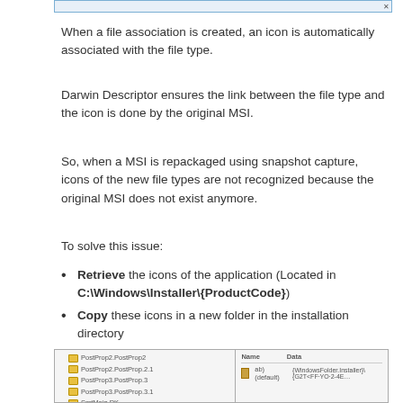[Figure (screenshot): Top portion of a Windows dialog or panel, shown as a thin bar with border]
When a file association is created, an icon is automatically associated with the file type.
Darwin Descriptor ensures the link between the file type and the icon is done by the original MSI.
So, when a MSI is repackaged using snapshot capture, icons of the new file types are not recognized because the original MSI does not exist anymore.
To solve this issue:
Retrieve the icons of the application (Located in C:\Windows\Installer\{ProductCode})
Copy these icons in a new folder in the installation directory
Modify the registry key DefaultIcon for each file association
[Figure (screenshot): Bottom screenshot showing Windows Registry Editor with folder tree on left and Name/Data columns on right, showing a DefaultIcon entry with value pointing to Windows Installer path]